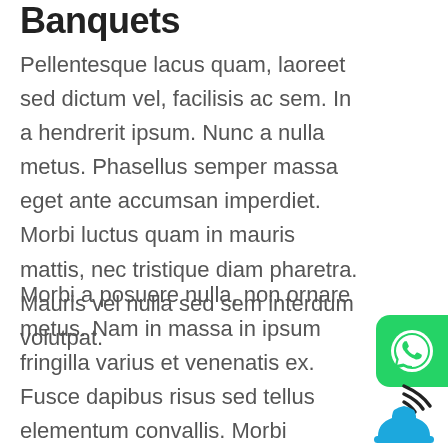Banquets
Pellentesque lacus quam, laoreet sed dictum vel, facilisis ac sem. In a hendrerit ipsum. Nunc a nulla metus. Phasellus semper massa eget ante accumsan imperdiet. Morbi luctus quam in mauris mattis, nec tristique diam pharetra. Mauris vel nulla sed sem interdum volutpat.
[Figure (logo): WhatsApp green rounded square button icon]
Morbi a posuere nulla, non ornare metus. Nam in massa in ipsum fringilla varius et venenatis ex. Fusce dapibus risus sed tellus elementum convallis. Morbi dictum, elit et lacinia finibus, nisi metus pretium erat, vel
[Figure (illustration): Hotel concierge bell with wifi signal icon in blue]